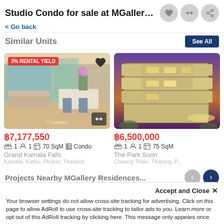Studio Condo for sale at MGallery Resid...
< Go back
Similar Units
[Figure (photo): Interior photo of a luxury condo living/dining area with floor-to-ceiling windows, orchid flowers, and FazWaz watermark. Badge: 3% RENTAL YIELD]
฿7,177,550
1  1  70 SqM  Condo
Grand Kamala Falls
Kamala, Kathu, Phuket, Thailand
[Figure (photo): Exterior photo of a multi-story luxury condo building at dusk with warm lighting and terrace balconies.]
฿6,500,000
1  1  75 SqM
The Park Surin
Choeng Thale, Thalang, P...
Projects Nearby MGallery Residences...
Accept and Close ✕
Your browser settings do not allow cross-site tracking for advertising. Click on this page to allow AdRoll to use cross-site tracking to tailor ads to you. Learn more or opt out of this AdRoll tracking by clicking here. This message only appears once.